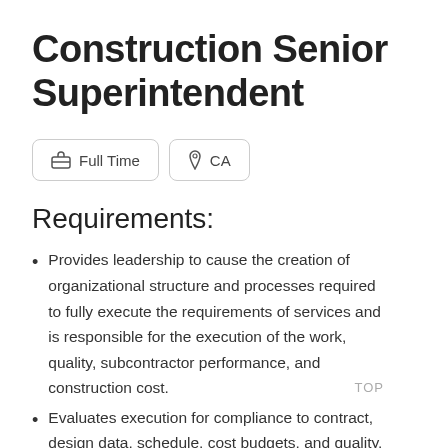Construction Senior Superintendent
Full Time  CA
Requirements:
Provides leadership to cause the creation of organizational structure and processes required to fully execute the requirements of services and is responsible for the execution of the work, quality, subcontractor performance, and construction cost.
Evaluates execution for compliance to contract, design data, schedule, cost budgets, and quality, ...